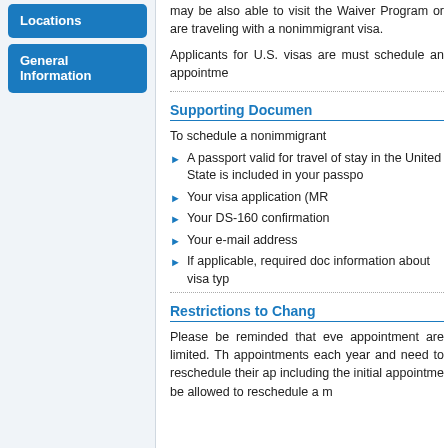Locations
General Information
may be also able to visit the Waiver Program or are traveling with a nonimmigrant visa.
Applicants for U.S. visas are must schedule an appointment.
Supporting Documents
To schedule a nonimmigrant
A passport valid for travel of stay in the United States is included in your passport
Your visa application (MR
Your DS-160 confirmation
Your e-mail address
If applicable, required documents information about visa type
Restrictions to Change
Please be reminded that every appointment are limited. The appointments each year and need to reschedule their appointment including the initial appointment be allowed to reschedule a m